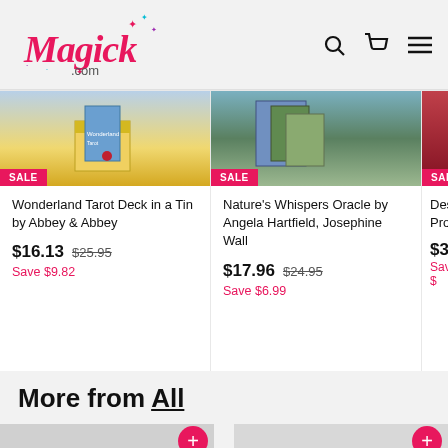[Figure (logo): Magick.com logo in pink script font with sparkle stars in pink, teal and purple]
Wonderland Tarot Deck in a Tin by Abbey & Abbey
$16.13  $25.95
Save $9.82
Nature's Whispers Oracle by Angela Hartfield, Josephine Wall
$17.96  $24.95
Save $6.99
Dese
Prote
$3.33
Save $
More from All
[Figure (screenshot): TrustedSite Certified Secure badge]
TrustedSite
CERTIFIED SECURE